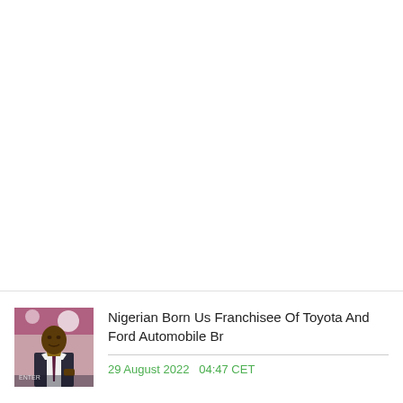[Figure (photo): Thumbnail photo of a man in a suit and tie, standing in front of a banner/backdrop at an event]
Nigerian Born Us Franchisee Of Toyota And Ford Automobile Br
29 August 2022   04:47 CET